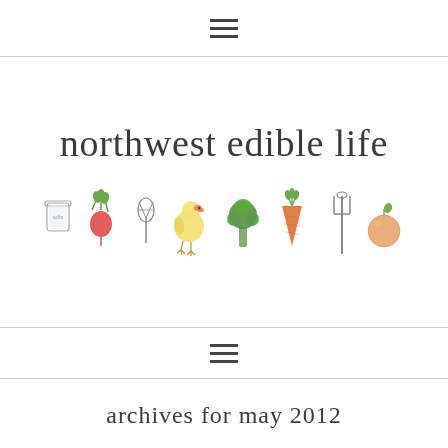≡
northwest edible life
[Figure (illustration): Row of hand-drawn food and garden icons: mason jar, radish, whisk, chicken, broccoli, carrot, pitchfork, peach]
≡
archives for may 2012